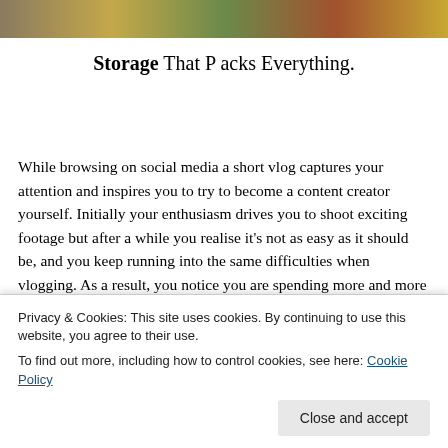[Figure (photo): Partial photo strip at top of page showing colorful objects or scene]
Storage That P acks Everything.
While browsing on social media a short vlog captures your attention and inspires you to try to become a content creator yourself. Initially your enthusiasm drives you to shoot exciting footage but after a while you realise it's not as easy as it should be, and you keep running into the same difficulties when vlogging. As a result, you notice you are spending more and more time trying to solve these problems rather than focus on creating, instead of shooting. and pain free.
Privacy & Cookies: This site uses cookies. By continuing to use this website, you agree to their use.
To find out more, including how to control cookies, see here: Cookie Policy